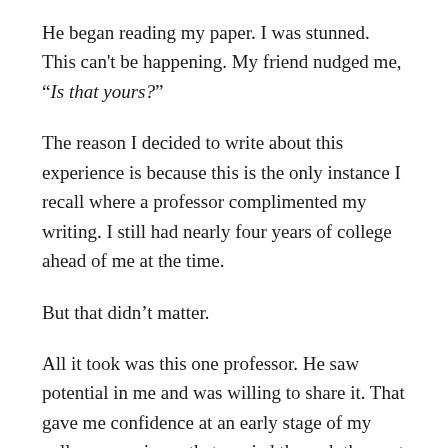He began reading my paper. I was stunned. This can't be happening. My friend nudged me, “Is that yours?”
The reason I decided to write about this experience is because this is the only instance I recall where a professor complimented my writing. I still had nearly four years of college ahead of me at the time.
But that didn’t matter.
All it took was this one professor. He saw potential in me and was willing to share it. That gave me confidence at an early stage of my college experience that carried through the next four years.
I still have that paper. Probably packed away in the